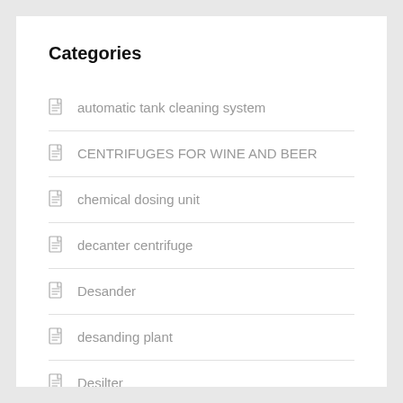Categories
automatic tank cleaning system
CENTRIFUGES FOR WINE AND BEER
chemical dosing unit
decanter centrifuge
Desander
desanding plant
Desilter
Disc separator